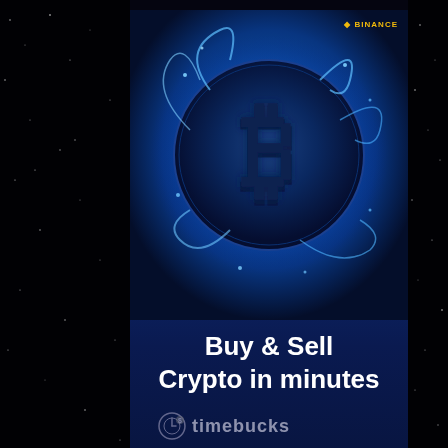[Figure (screenshot): Binance cryptocurrency exchange advertisement banner on a dark starfield background. The banner shows a glowing Bitcoin coin with blue energy effects, text 'Buy & Sell Crypto in minutes', a tagline about being the world's top crypto exchange, and a 'Register Now' button. The Timebucks logo appears at the bottom of the page.]
Buy & Sell Crypto in minutes
e world's oto exchange
Register N
timebucks